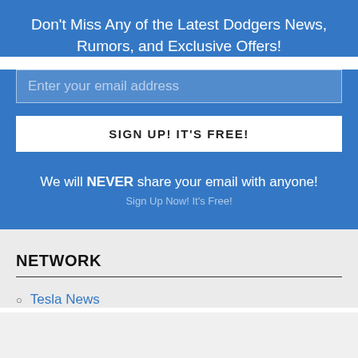Don't Miss Any of the Latest Dodgers News, Rumors, and Exclusive Offers!
Enter your email address
SIGN UP! IT'S FREE!
We will NEVER share your email with anyone!
Sign Up Now! It's Free!
NETWORK
Tesla News